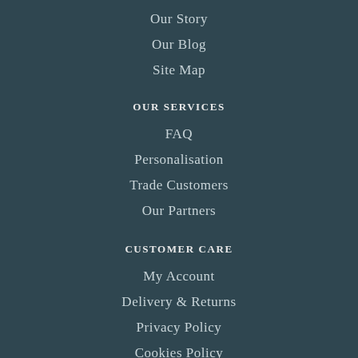Our Story
Our Blog
Site Map
OUR SERVICES
FAQ
Personalisation
Trade Customers
Our Partners
CUSTOMER CARE
My Account
Delivery & Returns
Privacy Policy
Cookies Policy
Terms & Conditions